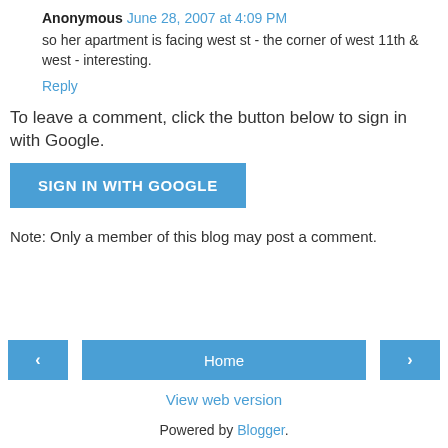Anonymous June 28, 2007 at 4:09 PM
so her apartment is facing west st - the corner of west 11th & west - interesting.
Reply
To leave a comment, click the button below to sign in with Google.
SIGN IN WITH GOOGLE
Note: Only a member of this blog may post a comment.
‹
Home
›
View web version
Powered by Blogger.